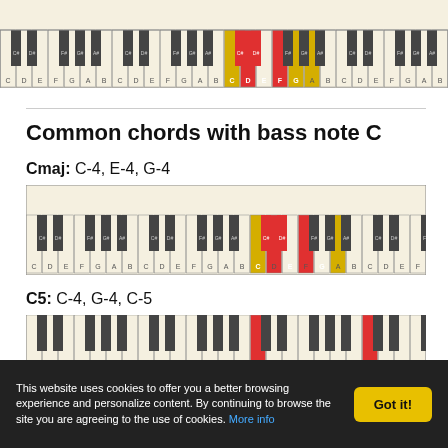[Figure (illustration): Piano keyboard diagram showing highlighted keys (red and yellow) representing a chord, partial view at top of page]
Common chords with bass note C
Cmaj: C-4, E-4, G-4
[Figure (illustration): Piano keyboard diagram for Cmaj chord with C, E, G keys highlighted in red and yellow]
C5: C-4, G-4, C-5
[Figure (illustration): Piano keyboard diagram for C5 chord, partially visible at bottom]
This website uses cookies to offer you a better browsing experience and personalize content. By continuing to browse the site you are agreeing to the use of cookies. More info